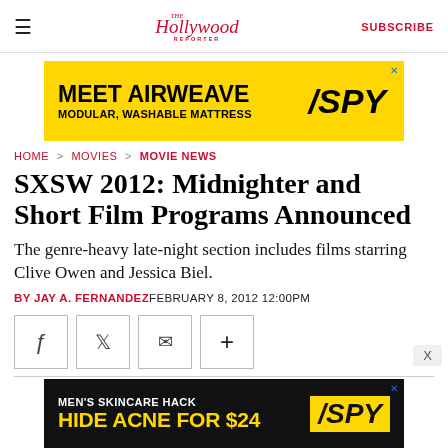THE Hollywood REPORTER  SUBSCRIBE
[Figure (advertisement): MEET AIRWEAVE / MODULAR, WASHABLE MATTRESS / SPY ad banner in yellow and black]
HOME > MOVIES > MOVIE NEWS
SXSW 2012: Midnighter and Short Film Programs Announced
The genre-heavy late-night section includes films starring Clive Owen and Jessica Biel.
BY JAY A. FERNANDEZ FEBRUARY 8, 2012 12:00PM
[Figure (advertisement): MEN'S SKINCARE HACK / HIDE ACNE FOR $24 / SPY ad banner in black and yellow]